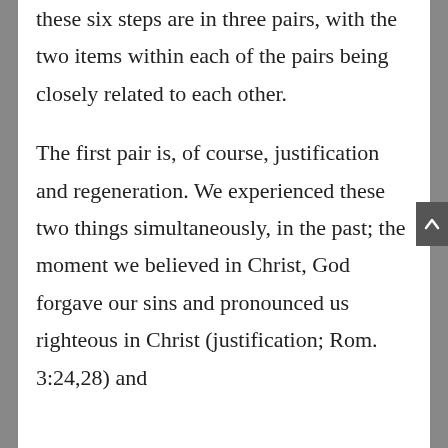these six steps are in three pairs, with the two items within each of the pairs being closely related to each other.
The first pair is, of course, justification and regeneration. We experienced these two things simultaneously, in the past; the moment we believed in Christ, God forgave our sins and pronounced us righteous in Christ (justification; Rom. 3:24,28) and